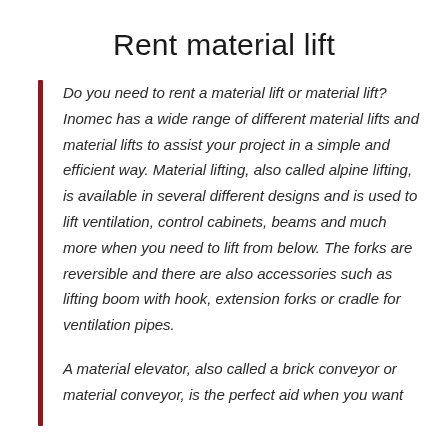Rent material lift
Do you need to rent a material lift or material lift? Inomec has a wide range of different material lifts and material lifts to assist your project in a simple and efficient way. Material lifting, also called alpine lifting, is available in several different designs and is used to lift ventilation, control cabinets, beams and much more when you need to lift from below. The forks are reversible and there are also accessories such as lifting boom with hook, extension forks or cradle for ventilation pipes.
A material elevator, also called a brick conveyor or material conveyor, is the perfect aid when you want